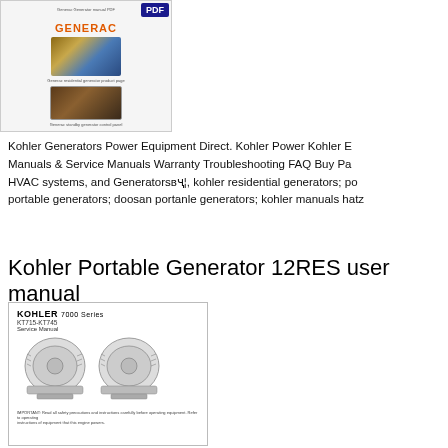[Figure (screenshot): Generac generator product listing screenshot showing PDF badge, Generac logo, and two product images of generators]
Kohler Generators Power Equipment Direct. Kohler Power Kohler E Manuals & Service Manuals Warranty Troubleshooting FAQ Buy Pa HVAC systems, and Generatorsвҷ¦, kohler residential generators; po portable generators; doosan portanle generators; kohler manuals hatz
Kohler Portable Generator 12RES user manual
[Figure (screenshot): Kohler 7000 Series KT715-KT745 Service Manual cover page showing two engine illustrations]